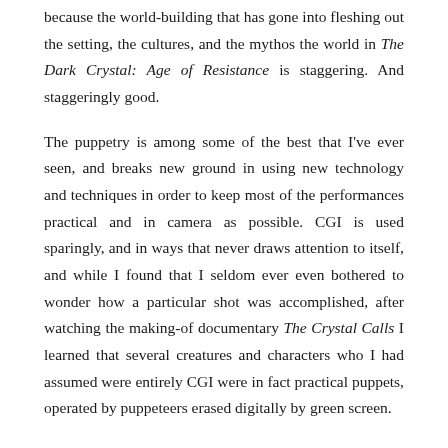because the world-building that has gone into fleshing out the setting, the cultures, and the mythos the world in The Dark Crystal: Age of Resistance is staggering. And staggeringly good.
The puppetry is among some of the best that I've ever seen, and breaks new ground in using new technology and techniques in order to keep most of the performances practical and in camera as possible. CGI is used sparingly, and in ways that never draws attention to itself, and while I found that I seldom ever even bothered to wonder how a particular shot was accomplished, after watching the making-of documentary The Crystal Calls I learned that several creatures and characters who I had assumed were entirely CGI were in fact practical puppets, operated by puppeteers erased digitally by green screen.